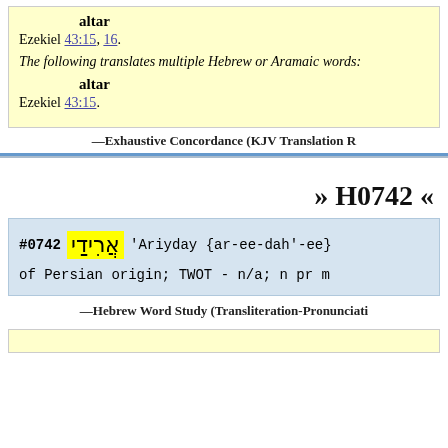altar
Ezekiel 43:15, 16.
The following translates multiple Hebrew or Aramaic words:
altar
Ezekiel 43:15.
—Exhaustive Concordance (KJV Translation R
» H0742 «
#0742 אֲרִידַי 'Ariyday {ar-ee-dah'-ee}
of Persian origin; TWOT - n/a; n pr m
—Hebrew Word Study (Transliteration-Pronunciati